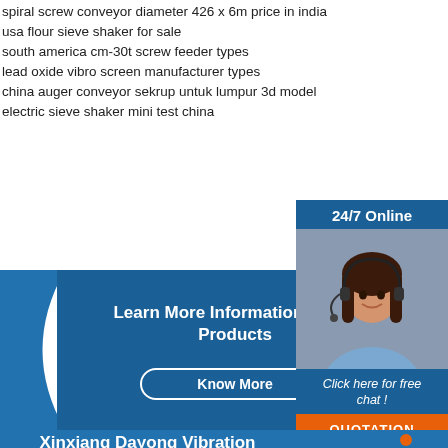spiral screw conveyor diameter 426 x 6m price in india
usa flour sieve shaker for sale
south america cm-30t screw feeder types
lead oxide vibro screen manufacturer types
china auger conveyor sekrup untuk lumpur 3d model
electric sieve shaker mini test china
24/7 Online
Click here for free chat !
QUOTATION
Learn More Information About Products
Know More
Xinxiang Dayong Vibration Equipment Co., Ltd.
Address:
Mobile:+86 15517160690